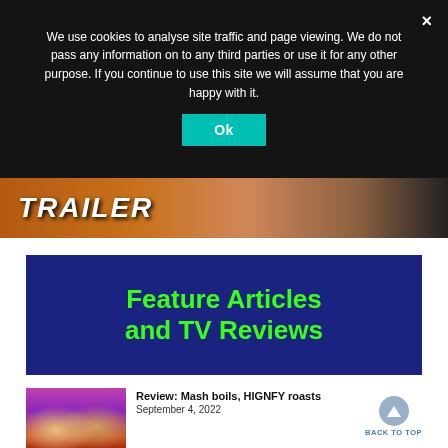We use cookies to analyse site traffic and page viewing. We do not pass any information on to any third parties or use it for any other purpose. If you continue to use this site we will assume that you are happy with it.
Ok
[Figure (screenshot): Partial view of a trailer thumbnail with 'TRAILER' text overlay in white on an orange/brown background]
[Figure (illustration): Dark navy blue banner with bright green bold text reading 'Feature Articles and TV Reviews']
[Figure (photo): Thumbnail of two people (a blonde woman and a dark-haired man) smiling against a colorful city background]
Review: Mash boils, HIGNFY roasts
September 4, 2022
BACK TO TOP